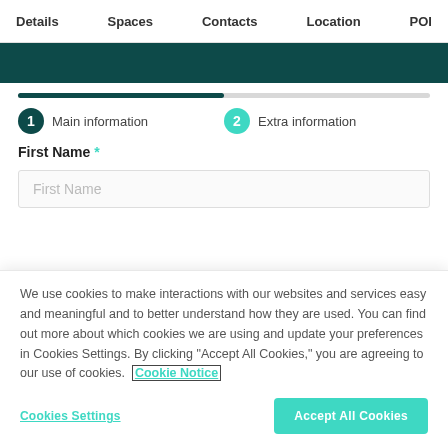Details   Spaces   Contacts   Location   POI
[Figure (other): Dark teal horizontal image bar]
[Figure (other): Two-step progress bar, approximately 50% filled]
1 Main information   2 Extra information
First Name *
First Name (placeholder text in input field)
We use cookies to make interactions with our websites and services easy and meaningful and to better understand how they are used. You can find out more about which cookies we are using and update your preferences in Cookies Settings. By clicking "Accept All Cookies," you are agreeing to our use of cookies.  Cookie Notice
Cookies Settings   Accept All Cookies